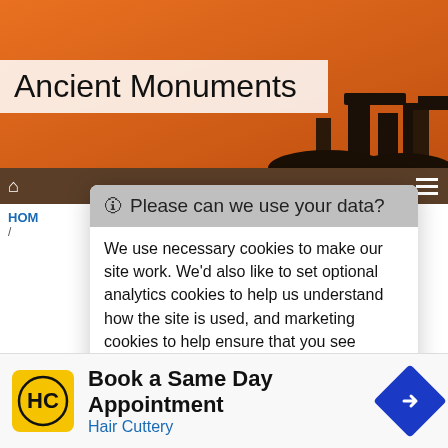[Figure (screenshot): Website header banner with orange-brown sunset background showing silhouettes of ancient stone monuments (Stonehenge-like) at right]
Ancient Monuments
🛈 Please can we use your data?
We use necessary cookies to make our site work. We'd also like to set optional analytics cookies to help us understand how the site is used, and marketing cookies to help ensure that you see relevant advertising. You can allow all cookies or manage them individually. More information
[Figure (logo): Hair Cuttery HC logo on yellow square]
Book a Same Day Appointment
Hair Cuttery